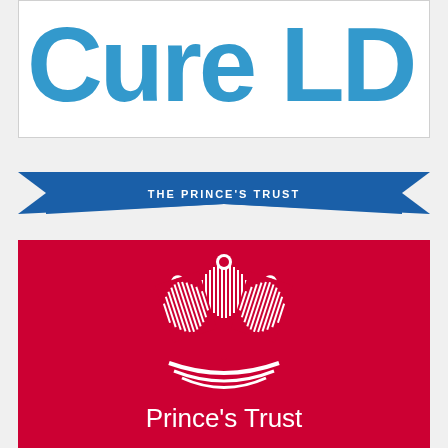[Figure (logo): CureLD logo - large blue text reading 'Cure LD' on white background with border]
[Figure (logo): The Prince's Trust banner - blue ribbon/banner shape with white text THE PRINCE'S TRUST]
[Figure (logo): Prince's Trust logo on red background - white feathers/plumes heraldic emblem with text 'Prince's Trust' in white below]